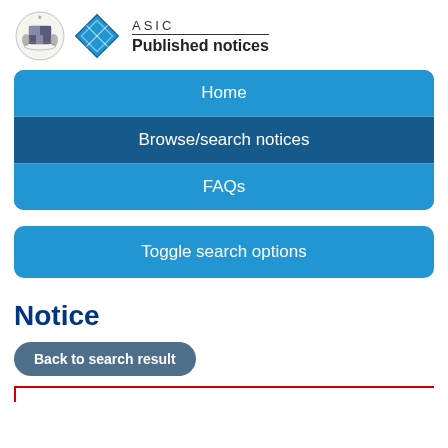[Figure (logo): Australian Government coat of arms and ASIC diamond logo with text 'ASIC Published notices']
Home
Browse/search notices
FAQs
Toggle search options
Notice
Back to search result